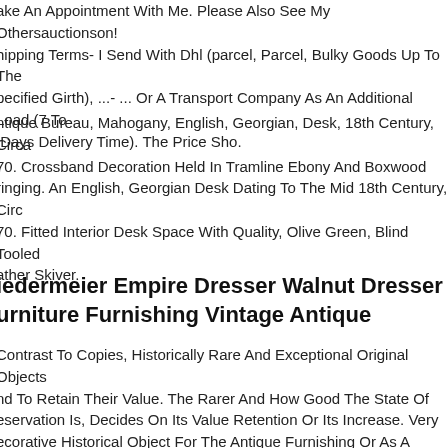ake An Appointment With Me. Please Also See My Othersauctionson! hipping Terms- I Send With Dhl (parcel, Parcel, Bulky Goods Up To The pecified Girth), ...- ... Or A Transport Company As An Additional Load (7 To Days Delivery Time). The Price Sho.
ntique Bureau, Mahogany, English, Georgian, Desk, 18th Century, Circa 70. Crossband Decoration Held In Tramline Ebony And Boxwood ringing. An English, Georgian Desk Dating To The Mid 18th Century, Circ 70. Fitted Interior Desk Space With Quality, Olive Green, Blind Tooled ather Skiver.
iedermeier Empire Dresser Walnut Dresser urniture Furnishing Vintage Antique
Contrast To Copies, Historically Rare And Exceptional Original Objects nd To Retain Their Value. The Rarer And How Good The State Of eservation Is, Decides On Its Value Retention Or Its Increase. Very ecorative Historical Object For The Antique Furnishing Or As A Conscious ounterpart In The Top Modern Design And Interior ..... The Chest Of awers Is Not In A Freshly Restored Condition, But It Would Not Be A